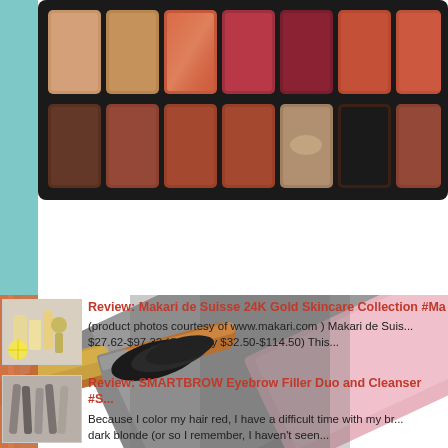[Figure (photo): Eyeshadow palette with warm tones including peach, tan, copper, deep red, burgundy, and brown shades arranged in two rows of seven pans in a black palette, photographed on a white background with a teal strip visible on the left edge.]
[Figure (photo): Background image showing a large makeup brush with gold/bronze handle and dark bristles, with diagonal striped makeup palette cases in grey and pink behind it, partially overlaid with two blog post preview cards.]
Review: Makari de Suisse 24K Gold Skincare Collection #Ma...
(product photos courtesy of www.makari.com ) Makari de Suis... $27.62-$97.32 (Originally $32.50-$114.50) This...
Review: SMARTBROW Eyebrow Filler Duo and Cleanser #S...
Because I color my hair red, I have a difficult time with my br... dark blonde (or so I remember, I haven't seen...